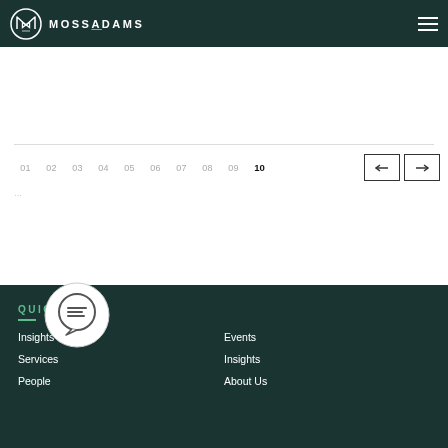MOSSADAMS
01 02 03 04 05 06 07 08 09 10 ... (pagination navigation, currently on page 10)
QUICK LINKS
Insights
Events
Services
Insights
People
About Us